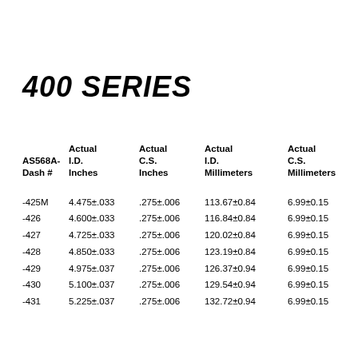400 SERIES
| AS568A-
Dash # | Actual I.D.
Inches | Actual C.S.
Inches | Actual I.D.
Millimeters | Actual C.S.
Millimeters | No Re I.D. |
| --- | --- | --- | --- | --- | --- |
| -425M | 4.475±.033 | .275±.006 | 113.67±0.84 | 6.99±0.15 | 4-1 |
| -426 | 4.600±.033 | .275±.006 | 116.84±0.84 | 6.99±0.15 | 4-5 |
| -427 | 4.725±.033 | .275±.006 | 120.02±0.84 | 6.99±0.15 | 4-3 |
| -428 | 4.850±.033 | .275±.006 | 123.19±0.84 | 6.99±0.15 | 4-7 |
| -429 | 4.975±.037 | .275±.006 | 126.37±0.94 | 6.99±0.15 | 5 |
| -430 | 5.100±.037 | .275±.006 | 129.54±0.94 | 6.99±0.15 | 5-1 |
| -431 | 5.225±.037 | .275±.006 | 132.72±0.94 | 6.99±0.15 | 5-1 |